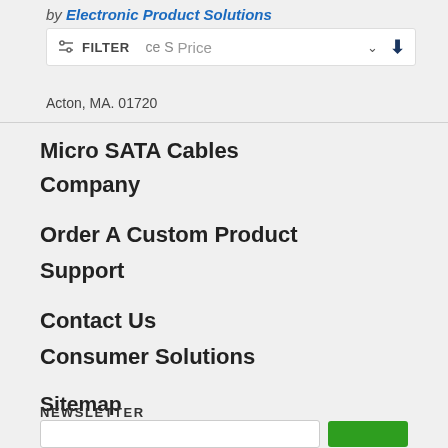by Electronic Product Solutions
[Figure (screenshot): Filter bar UI element showing filter icon, FILTER text, 'ce S' partial text, Price dropdown with chevron, and download arrow button]
Acton, MA. 01720
Micro SATA Cables
Company
Order A Custom Product
Support
Contact Us
Consumer Solutions
Sitemap
Commercial Solutions
NEWSLETTER